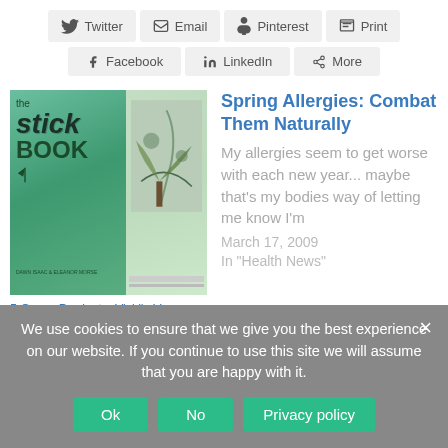Twitter | Email | Pinterest | Print
Facebook | LinkedIn | More
[Figure (illustration): Two book covers: The Stick Book and another green book]
5 Green Products: Vicki's Vegan Kitchen, Tagg Pet Tracker, The Stick Book, Snap Infusion Super Candy, Munchkin Cups
Spring Allergies: Combat Them Naturally
My allergies seem to get worse with each new year... maybe that's my bodies way of letting me know I'm
March 17, 2009
In "Health News"
We use cookies to ensure that we give you the best experience on our website. If you continue to use this site we will assume that you are happy with it.
Ok
No
Privacy policy